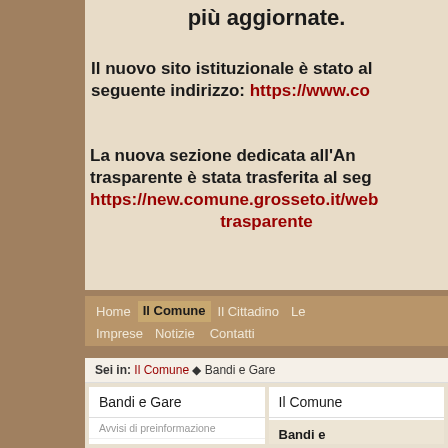più aggiornate.
Il nuovo sito istituzionale è stato al seguente indirizzo: https://www.co...
La nuova sezione dedicata all'An... trasparente è stata trasferita al seg... https://new.comune.grosseto.it/web... trasparente
Home | Il Comune | Il Cittadino | Le Imprese | Notizie | Contatti
Sei in: Il Comune ◆ Bandi e Gare
Bandi e Gare
Il Comune
Avvisi di preinformazione
Determinazioni a contrarre
Bandi e Gare